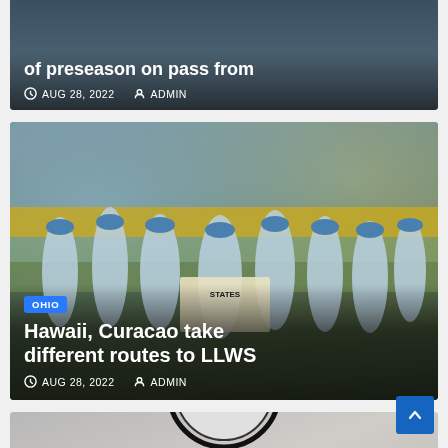[Figure (photo): Partial news card at top showing dark background with sports figure, headline about preseason, dated AUG 28 2022 by ADMIN]
of preseason on pass from
AUG 28, 2022  ADMIN
[Figure (photo): News card showing youth baseball team in light blue and yellow WEST uniforms, with OHIO category badge]
OHIO
Hawaii, Curacao take different routes to LLWS
AUG 28, 2022  ADMIN
[Figure (photo): Partial news card at bottom showing Street Gang Police Task Force logo and evidence items, with ARIZONA category badge]
ARIZONA
Detectives Seize Firearms, Ammo, Drugs During